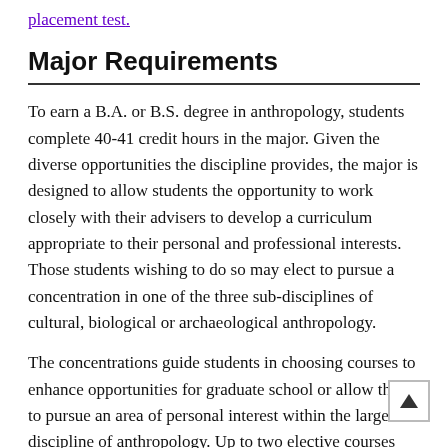placement test.
Major Requirements
To earn a B.A. or B.S. degree in anthropology, students complete 40-41 credit hours in the major. Given the diverse opportunities the discipline provides, the major is designed to allow students the opportunity to work closely with their advisers to develop a curriculum appropriate to their personal and professional interests. Those students wishing to do so may elect to pursue a concentration in one of the three sub-disciplines of cultural, biological or archaeological anthropology.
The concentrations guide students in choosing courses to enhance opportunities for graduate school or allow them to pursue an area of personal interest within the larger discipline of anthropology. Up to two elective courses from a discipline outside of anthropology may be applied to the major. Elective courses from outside disciplines may be applied to the major.